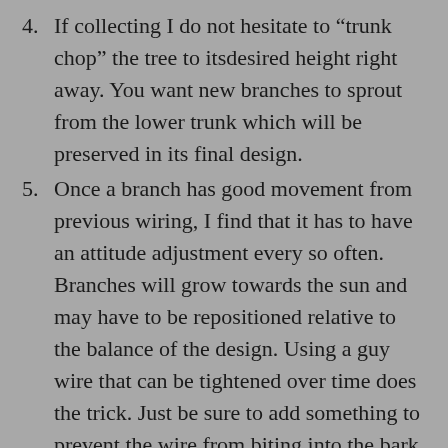4. If collecting I do not hesitate to “trunk chop” the tree to itsdesired height right away. You want new branches to sprout from the lower trunk which will be preserved in its final design.
5. Once a branch has good movement from previous wiring, I find that it has to have an attitude adjustment every so often. Branches will grow towards the sun and may have to be repositioned relative to the balance of the design. Using a guy wire that can be tightened over time does the trick. Just be sure to add something to prevent the wire from biting into the bark.
6. In Winter I clean any lichen or moss off the trunk and branches. Moss will ruin the bark and lichen is